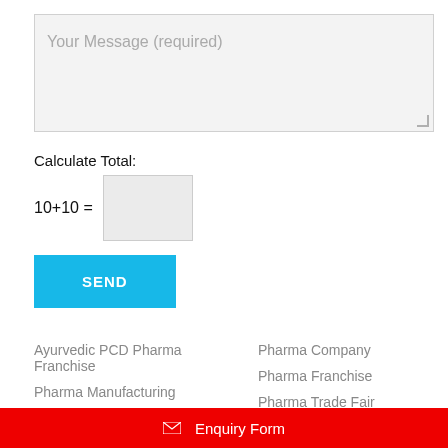Your Message (required)
Calculate Total:
10+10 =
SEND
Your IP : 44.207.124.84
Ayurvedic PCD Pharma Franchise
Pharma Manufacturing
Pharma Company
Pharma Franchise
Pharma Trade Fair
✉ Enquiry Form